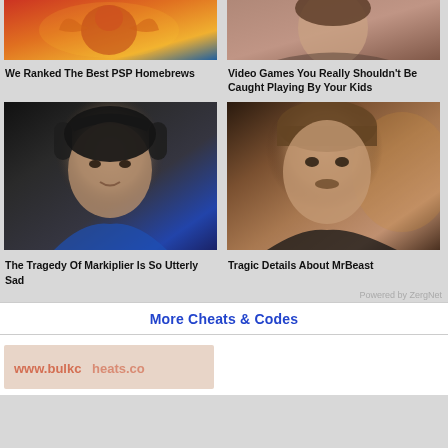[Figure (photo): Animated/cartoon character image - PSP Homebrews article thumbnail]
We Ranked The Best PSP Homebrews
[Figure (photo): Woman photo - Video Games article thumbnail]
Video Games You Really Shouldn't Be Caught Playing By Your Kids
[Figure (photo): Photo of Markiplier (YouTuber with headphones)]
The Tragedy Of Markiplier Is So Utterly Sad
[Figure (photo): Photo of MrBeast (YouTuber)]
Tragic Details About MrBeast
Powered by ZergNet
More Cheats & Codes
[Figure (screenshot): Partially visible bottom card image]